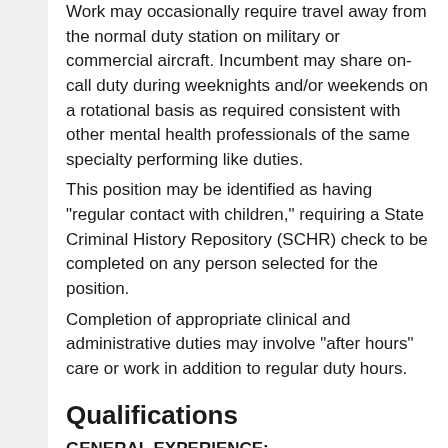Work may occasionally require travel away from the normal duty station on military or commercial aircraft. Incumbent may share on-call duty during weeknights and/or weekends on a rotational basis as required consistent with other mental health professionals of the same specialty performing like duties.
This position may be identified as having "regular contact with children," requiring a State Criminal History Repository (SCHR) check to be completed on any person selected for the position.
Completion of appropriate clinical and administrative duties may involve "after hours" care or work in addition to regular duty hours.
Qualifications
GENERAL EXPERIENCE:
Knowledge of social work theories, principles, techniques, and resources is mandatory.